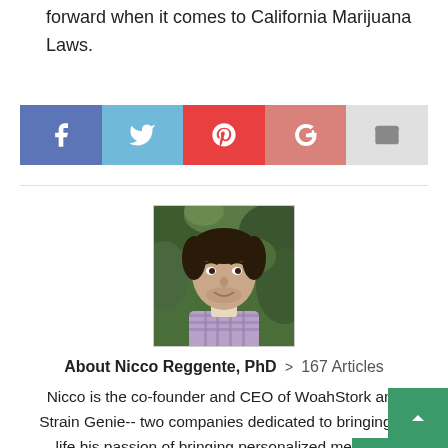forward when it comes to California Marijuana Laws.
[Figure (infographic): Social sharing buttons: Facebook (blue), Twitter (light blue), Pinterest (red), Google+ (pinkish-red), Email (gray)]
[Figure (photo): Headshot of Nicco Reggente, PhD — a young man with dark hair, smiling, wearing a plaid shirt, with green foliage in the background]
About Nicco Reggente, PhD > 167 Articles
Nicco is the co-founder and CEO of WoahStork and Strain Genie-- two companies dedicated to bringing to life his passion of bringing personalized medicine to the cannabis industry. Nicco received his PhD from UCLA in cognitive neuroscience with a focus